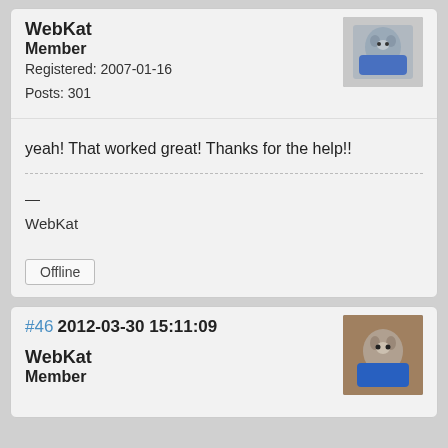WebKat
Member
Registered: 2007-01-16
Posts: 301
yeah! That worked great! Thanks for the help!!
—
WebKat
Offline
#46  2012-03-30 15:11:09
WebKat
Member